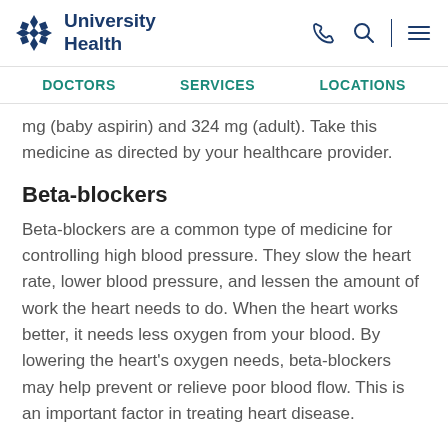University Health
mg (baby aspirin) and 324 mg (adult). Take this medicine as directed by your healthcare provider.
Beta-blockers
Beta-blockers are a common type of medicine for controlling high blood pressure. They slow the heart rate, lower blood pressure, and lessen the amount of work the heart needs to do. When the heart works better, it needs less oxygen from your blood. By lowering the heart's oxygen needs, beta-blockers may help prevent or relieve poor blood flow. This is an important factor in treating heart disease.